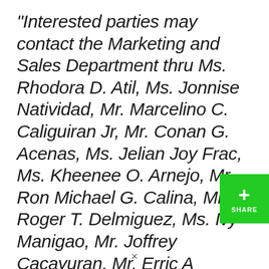“Interested parties may contact the Marketing and Sales Department thru Ms. Rhodora D. Atil, Ms. Jonnise Natividad, Mr. Marcelino C. Caliguiran Jr, Mr. Conan G. Acenas, Ms. Jelian Joy Frac, Ms. Kheenee O. Arnejo, Mr. Ron Michael G. Calina, Mr. Roger T. Delmiguez, Ms. Ivy Manigao, Mr. Joffrey Cacayuran, Mr. Erric A...
[Figure (other): Green share button with a plus sign and the label SHARE]